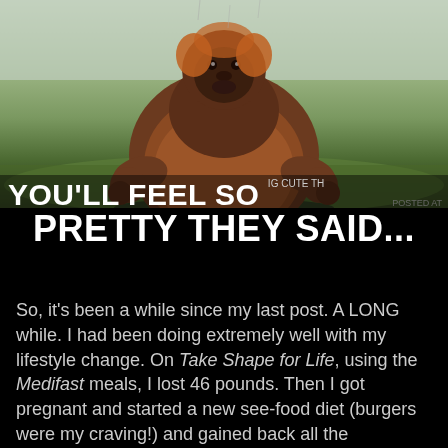[Figure (photo): A very large, obese orangutan sitting on grass, facing the camera with its big round belly prominent. Background shows grass and a wall.]
YOU'LL FEEL SO PRETTY THEY SAID...
So, it's been a while since my last post. A LONG while. I had been doing extremely well with my lifestyle change. On Take Shape for Life, using the Medifast meals, I lost 46 pounds. Then I got pregnant and started a new see-food diet (burgers were my craving!) and gained back all the